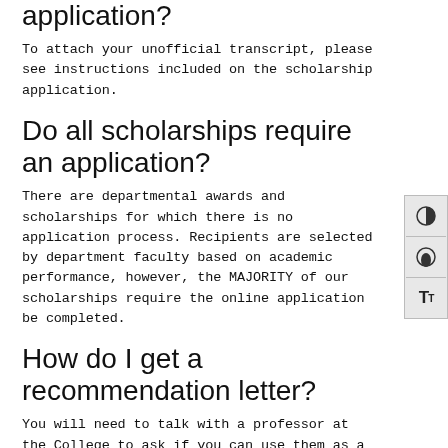application?
To attach your unofficial transcript, please see instructions included on the scholarship application.
Do all scholarships require an application?
There are departmental awards and scholarships for which there is no application process. Recipients are selected by department faculty based on academic performance, however, the MAJORITY of our scholarships require the online application be completed.
How do I get a recommendation letter?
You will need to talk with a professor at the College to ask if you can use them as a reference. If they agree, get their email address, which you will enter on your application.